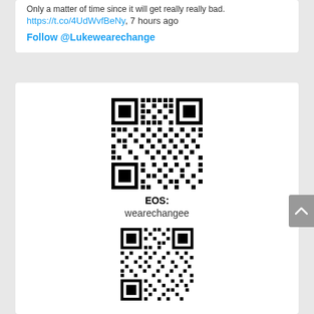Only a matter of time since it will get really really bad.
https://t.co/4UdWvfBeNy, 7 hours ago
Follow @Lukewearechange
[Figure (other): QR code for EOS address wearechangee]
EOS:
wearechangee
[Figure (other): Second QR code (partially visible at bottom)]